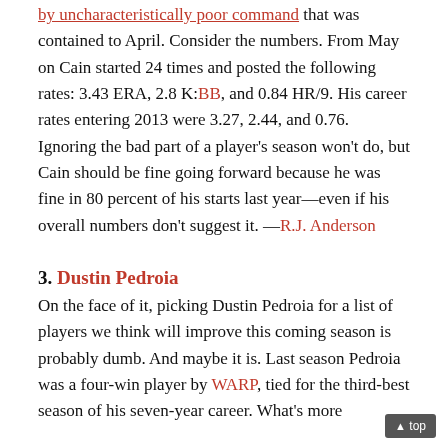by uncharacteristically poor command that was contained to April. Consider the numbers. From May on Cain started 24 times and posted the following rates: 3.43 ERA, 2.8 K:BB, and 0.84 HR/9. His career rates entering 2013 were 3.27, 2.44, and 0.76. Ignoring the bad part of a player's season won't do, but Cain should be fine going forward because he was fine in 80 percent of his starts last year—even if his overall numbers don't suggest it. —R.J. Anderson
3. Dustin Pedroia
On the face of it, picking Dustin Pedroia for a list of players we think will improve this coming season is probably dumb. And maybe it is. Last season Pedroia was a four-win player by WARP, tied for the third-best season of his seven-year career. What's more